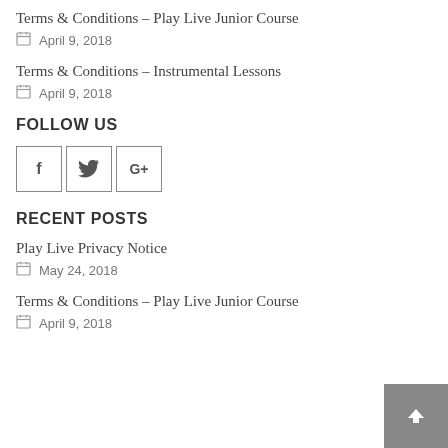Terms & Conditions – Play Live Junior Course
April 9, 2018
Terms & Conditions – Instrumental Lessons
April 9, 2018
FOLLOW US
[Figure (infographic): Social media icon buttons for Facebook (f), Twitter (bird), and Google+ (G+) in square bordered boxes]
RECENT POSTS
Play Live Privacy Notice
May 24, 2018
Terms & Conditions – Play Live Junior Course
April 9, 2018